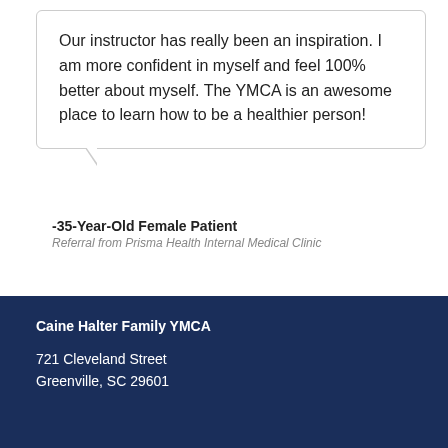Our instructor has really been an inspiration. I am more confident in myself and feel 100% better about myself. The YMCA is an awesome place to learn how to be a healthier person!
-35-Year-Old Female Patient
Referral from Prisma Health Internal Medical Clinic
Caine Halter Family YMCA
721 Cleveland Street
Greenville, SC 29601